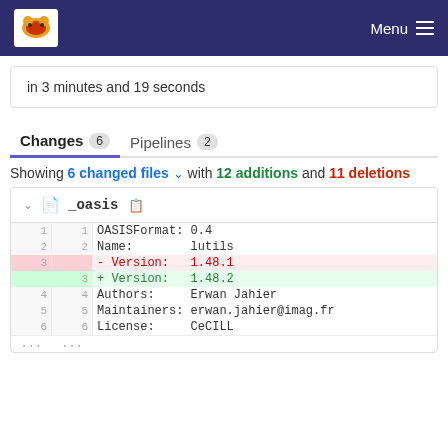Menu
in 3 minutes and 19 seconds
Changes 6   Pipelines 2
Showing 6 changed files with 12 additions and 11 deletions
| old line | new line | content |
| --- | --- | --- |
| 1 | 1 | OASISFormat: 0.4 |
| 2 | 2 | Name:        lutils |
| 3 |  | - Version:   1.48.1 |
|  | 3 | + Version:   1.48.2 |
| 4 | 4 | Authors:     Erwan Jahier |
| 5 | 5 | Maintainers: erwan.jahier@imag.fr |
| 6 | 6 | License:     CeCILL |
| ... | ... |  |